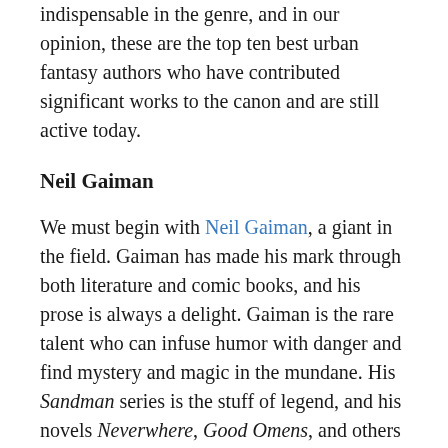indispensable in the genre, and in our opinion, these are the top ten best urban fantasy authors who have contributed significant works to the canon and are still active today.
Neil Gaiman
We must begin with Neil Gaiman, a giant in the field. Gaiman has made his mark through both literature and comic books, and his prose is always a delight. Gaiman is the rare talent who can infuse humor with danger and find mystery and magic in the mundane. His Sandman series is the stuff of legend, and his novels Neverwhere, Good Omens, and others are worldwide bestsellers.